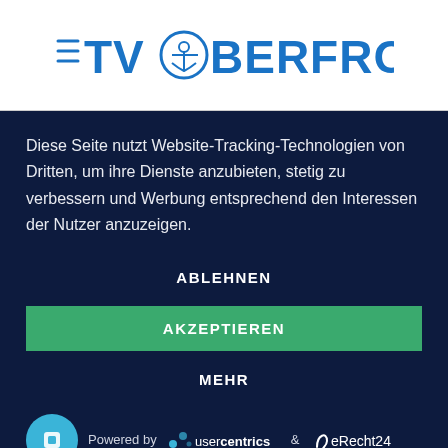[Figure (logo): TV Oberfrohna logo with menu icon, club emblem circle, and blue bold text reading TV OBERFROHNA]
Diese Seite nutzt Website-Tracking-Technologien von Dritten, um ihre Dienste anzubieten, stetig zu verbessern und Werbung entsprechend den Interessen der Nutzer anzuzeigen.
ABLEHNEN
AKZEPTIEREN
MEHR
[Figure (logo): Powered by usercentrics & eRecht24 logos with Usercentrics icon button]